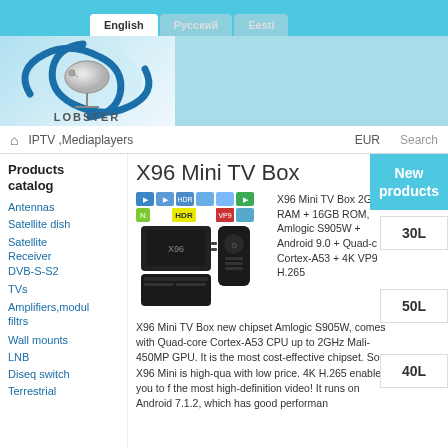English | Русский | Eesti
[Figure (logo): Lobster satellite dish logo with blue swirl and satellite dish, text LOBSTER below]
IPTV ,Mediaplayers   EUR   Search
Products catalog
Antennas
Satellite dish
Satellite Receiver DVB-S-S2
TVs
Amplifiers,modul filtrs
Wall mounts
LNB
Diseq switch
Terrestrial
X96 Mini TV Box
[Figure (photo): X96 Mini TV Box product image with remote control and app icons]
X96 Mini TV Box 2GB RAM + 16GB ROM, Amlogic S905W + Android 9.0 + Quad-c Cortex-A53 + 4K VP9 H.265
X96 Mini TV Box new chipset Amlogic S905W, comes with Quad-core Cortex-A53 CPU up to 2GHz Mali-450MP GPU. It is the most cost-effective chipset. So X96 Mini is high-qua with low price. 4K H.265 enables you to f the most high-definition video! It runs on Android 7.1.2, which has good performan
New products
30L
50L
40L